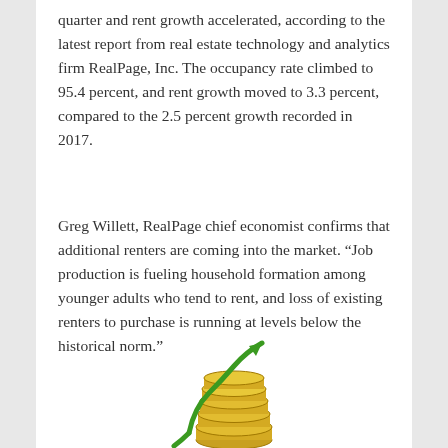quarter and rent growth accelerated, according to the latest report from real estate technology and analytics firm RealPage, Inc. The occupancy rate climbed to 95.4 percent, and rent growth moved to 3.3 percent, compared to the 2.5 percent growth recorded in 2017.
Greg Willett, RealPage chief economist confirms that additional renters are coming into the market. “Job production is fueling household formation among younger adults who tend to rent, and loss of existing renters to purchase is running at levels below the historical norm.”
[Figure (illustration): Illustration of stacked gold coins with a green upward arrow rising from them, symbolizing financial growth or rent increase.]